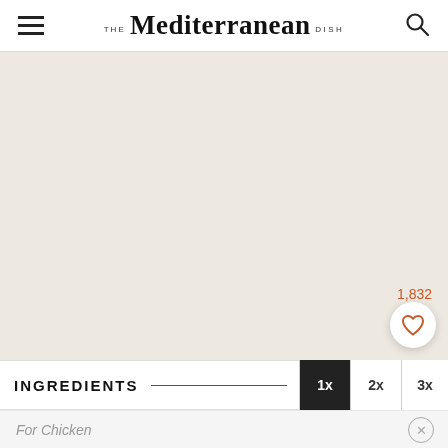THE Mediterranean DISH
[Figure (illustration): Large beige/cream colored image placeholder area for a recipe photo]
1,832
INGREDIENTS
For Chicken
2 teaspoon dried oregano